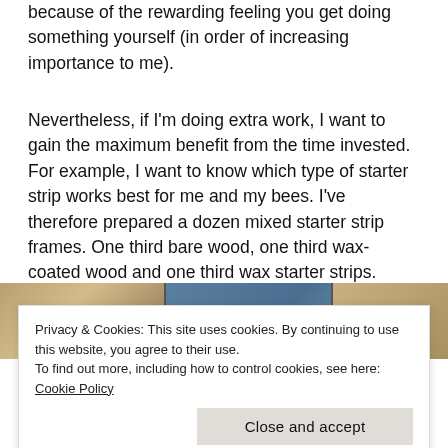because of the rewarding feeling you get doing something yourself (in order of increasing importance to me).
Nevertheless, if I'm doing extra work, I want to gain the maximum benefit from the time invested. For example, I want to know which type of starter strip works best for me and my bees. I've therefore prepared a dozen mixed starter strip frames. One third bare wood, one third wax-coated wood and one third wax starter strips. During the season I'll pop a few of these into expanding colonies and see which they prefer.
[Figure (photo): A strip of three photos showing beekeeping frames and equipment on a wooden surface]
Privacy & Cookies: This site uses cookies. By continuing to use this website, you agree to their use.
To find out more, including how to control cookies, see here: Cookie Policy
Close and accept
Take your pick …